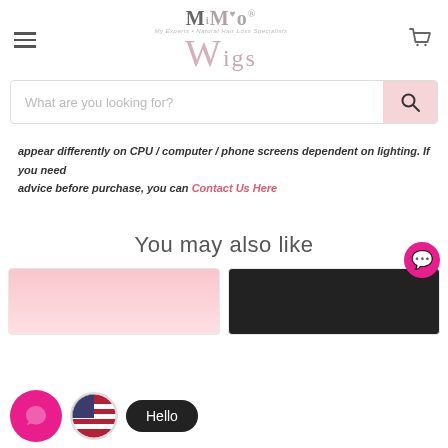[Figure (logo): MiMo Wigs logo with hamburger menu and cart icon in header]
[Figure (screenshot): Search bar with placeholder text 'What are you looking for?' and pink search button]
appear differently on CPU / computer / phone screens dependent on lighting. If you need advice before purchase, you can Contact Us Here
You may also like
[Figure (photo): Two product cards partially visible at bottom - one with pink background, one with dark background]
[Figure (other): Pink chat bubble icon on right side]
[Figure (other): Bottom bar with US flag circle, pink chat bubble, and Hello button]